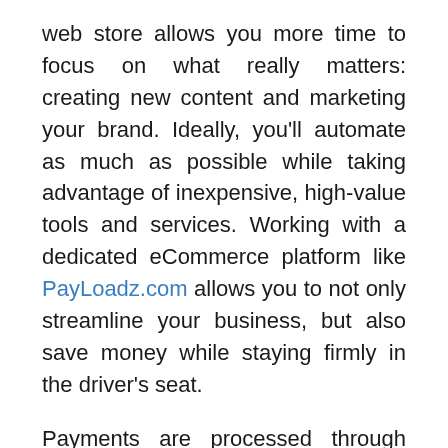web store allows you more time to focus on what really matters: creating new content and marketing your brand. Ideally, you'll automate as much as possible while taking advantage of inexpensive, high-value tools and services. Working with a dedicated eCommerce platform like PayLoadz.com allows you to not only streamline your business, but also save money while staying firmly in the driver's seat.
Payments are processed through names both you and your customers trust, like Google Wallet and PayPal. Your files are securely hosted, and automated content delivery means your customers never wait for you to manually share a download link. Because high-quality eCommerce